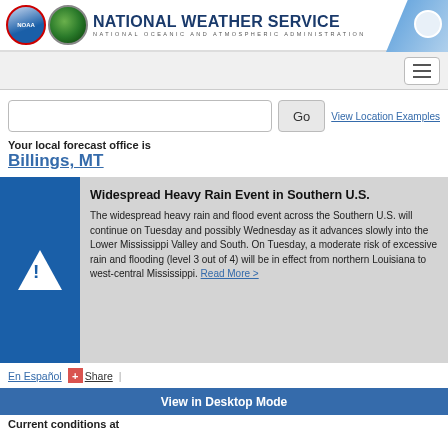NATIONAL WEATHER SERVICE / NATIONAL OCEANIC AND ATMOSPHERIC ADMINISTRATION
Your local forecast office is
Billings, MT
Widespread Heavy Rain Event in Southern U.S.
The widespread heavy rain and flood event across the Southern U.S. will continue on Tuesday and possibly Wednesday as it advances slowly into the Lower Mississippi Valley and South. On Tuesday, a moderate risk of excessive rain and flooding (level 3 out of 4) will be in effect from northern Louisiana to west-central Mississippi. Read More >
En Español
Share
View in Desktop Mode
Current conditions at